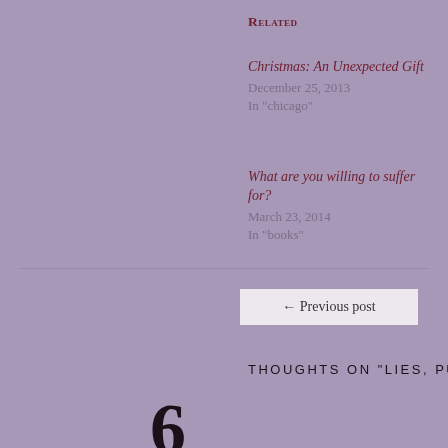Related
Christmas: An Unexpected Gift
December 25, 2013
In "chicago"
Walking humbly...
March 17, 2012
In "God"
What are you willing to suffer for?
March 23, 2014
In "books"
← Previous post
Next post →
THOUGHTS ON "LIES, PUT-DOWNS, AND IVORY SOAP"
6